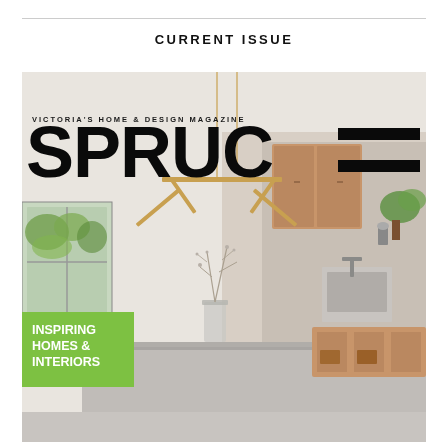CURRENT ISSUE
[Figure (photo): Magazine cover of SPRUCE – Victoria's Home & Design Magazine, featuring a modern kitchen interior with a gold pendant light, concrete island, wood cabinetry, and a green badge reading 'INSPIRING HOMES & INTERIORS']